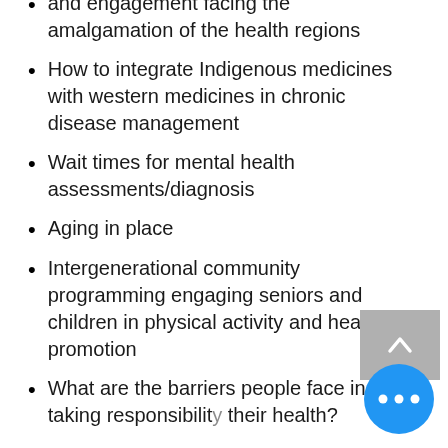and engagement facing the amalgamation of the health regions
How to integrate Indigenous medicines with western medicines in chronic disease management
Wait times for mental health assessments/diagnosis
Aging in place
Intergenerational community programming engaging seniors and children in physical activity and health promotion
What are the barriers people face in taking responsibility their health?